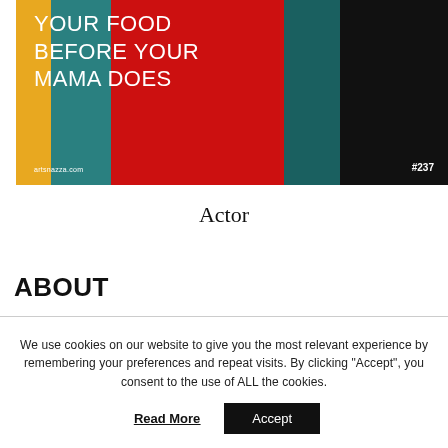[Figure (photo): Book or magazine cover with colorful clothing (yellow, teal, red, dark) in the background and white text reading 'YOUR FOOD BEFORE YOUR MAMA DOES' with 'artsnazza.com' and '#237']
Actor
ABOUT
We use cookies on our website to give you the most relevant experience by remembering your preferences and repeat visits. By clicking "Accept", you consent to the use of ALL the cookies.
Read More
Accept